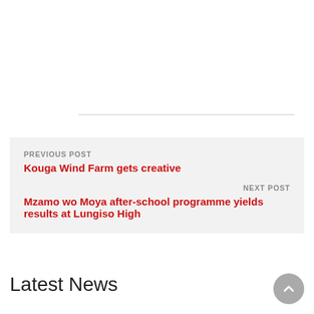PREVIOUS POST
Kouga Wind Farm gets creative
NEXT POST
Mzamo wo Moya after-school programme yields results at Lungiso High
Latest News